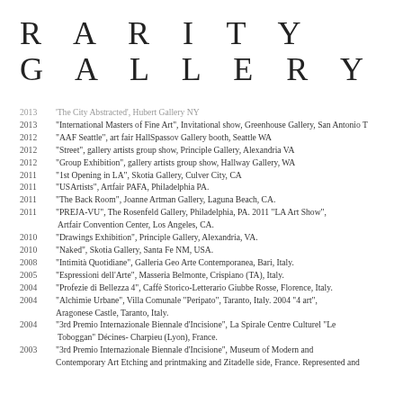RARITY GALLERY
2013   'The City Abstracted', Hubert Gallery NY
2013   "International Masters of Fine Art", Invitational show, Greenhouse Gallery, San Antonio T
2012   "AAF Seattle", art fair HallSpassov Gallery booth, Seattle WA
2012   "Street", gallery artists group show, Principle Gallery, Alexandria VA
2012   "Group Exhibition", gallery artists group show, Hallway Gallery, WA
2011   "1st Opening in LA", Skotia Gallery, Culver City, CA
2011   "USArtists", Artfair PAFA, Philadelphia PA.
2011   "The Back Room", Joanne Artman Gallery, Laguna Beach, CA.
2011   "PREJA-VU", The Rosenfeld Gallery, Philadelphia, PA. 2011 "LA Art Show", Artfair Convention Center, Los Angeles, CA.
2010   "Drawings Exhibition", Principle Gallery, Alexandria, VA.
2010   "Naked", Skotia Gallery, Santa Fe NM, USA.
2008   "Intimità Quotidiane", Galleria Geo Arte Contemporanea, Bari, Italy.
2005   "Espressioni dell'Arte", Masseria Belmonte, Crispiano (TA), Italy.
2004   "Profezie di Bellezza 4", Caffè Storico-Letterario Giubbe Rosse, Florence, Italy.
2004   "Alchimie Urbane", Villa Comunale "Peripato", Taranto, Italy. 2004 "4 art", Aragonese Castle, Taranto, Italy.
2004   "3rd Premio Internazionale Biennale d'Incisione", La Spirale Centre Culturel "Le Toboggan" Décines- Charpieu (Lyon), France.
2003   "3rd Premio Internazionale Biennale d'Incisione", Museum of Modern and Contemporary Art Etching and printmaking and Zitadelle side, France. Represented and